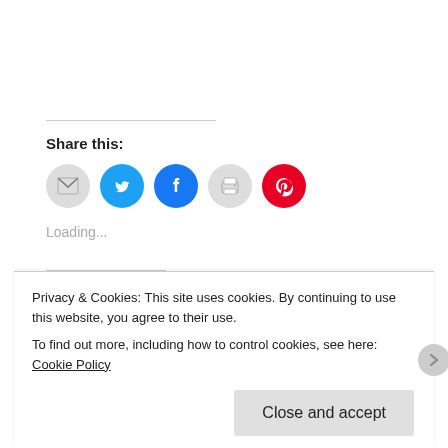Share this:
[Figure (other): Row of social share buttons: email (grey circle), Twitter (blue circle), Facebook (blue circle), print (grey circle), Pinterest (red circle)]
Loading...
Related
A Course In Miracles – You Are Not of This World. You Do As
A Course In Miracles – Healing As the Art of The Transformed
Privacy & Cookies: This site uses cookies. By continuing to use this website, you agree to their use.
To find out more, including how to control cookies, see here: Cookie Policy
Close and accept